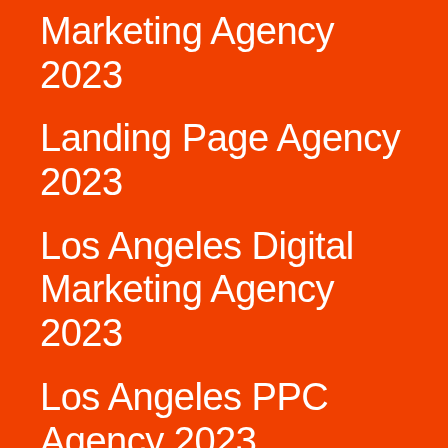Marketing Agency 2023
Landing Page Agency 2023
Los Angeles Digital Marketing Agency 2023
Los Angeles PPC Agency 2023
Miami Digital Marketing Agency 2023
Milwaukee Digital Marketing Agency 2023